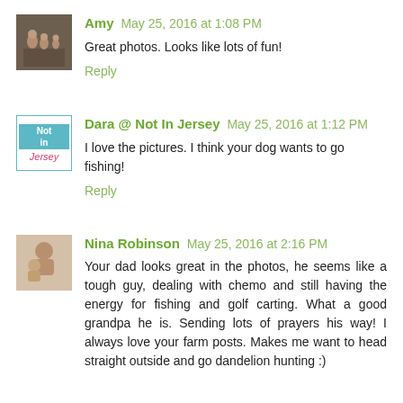[Figure (photo): Amy's avatar - family photo thumbnail]
Amy May 25, 2016 at 1:08 PM
Great photos. Looks like lots of fun!
Reply
[Figure (logo): Not In Jersey blog logo avatar]
Dara @ Not In Jersey May 25, 2016 at 1:12 PM
I love the pictures. I think your dog wants to go fishing!
Reply
[Figure (photo): Nina Robinson avatar - person with child photo]
Nina Robinson May 25, 2016 at 2:16 PM
Your dad looks great in the photos, he seems like a tough guy, dealing with chemo and still having the energy for fishing and golf carting. What a good grandpa he is. Sending lots of prayers his way! I always love your farm posts. Makes me want to head straight outside and go dandelion hunting :)